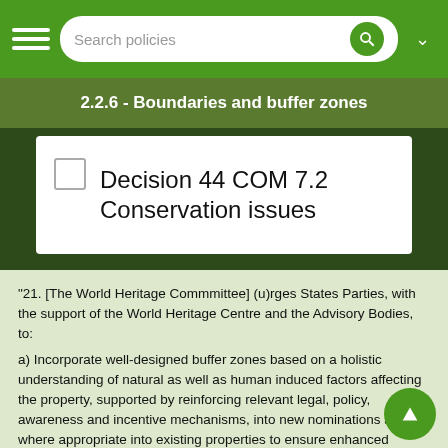Search policies
2.2.6 - Boundaries and buffer zones
Decision 44 COM 7.2 Conservation issues
"21. [The World Heritage Commmittee] (u)rges States Parties, with the support of the World Heritage Centre and the Advisory Bodies, to:
a) Incorporate well-designed buffer zones based on a holistic understanding of natural as well as human induced factors affecting the property, supported by reinforcing relevant legal, policy, awareness and incentive mechanisms, into new nominations and where appropriate into existing properties to ensure enhanced protection of World Heritage properties,
b) Place particular emphasis on strategic environmental assessment and impact assessments for potential projects within buffer zones to avoid, negative impacts on OUV from